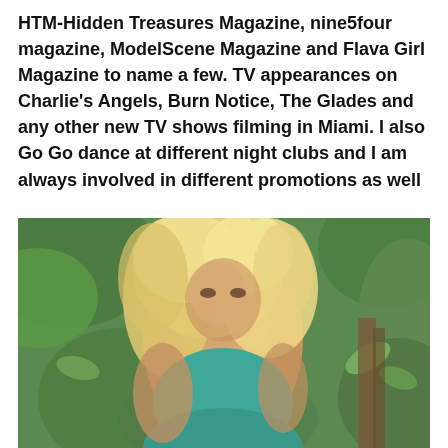HTM-Hidden Treasures Magazine, nine5four magazine, ModelScene Magazine and Flava Girl Magazine to name a few. TV appearances on Charlie's Angels, Burn Notice, The Glades and any other new TV shows filming in Miami. I also Go Go dance at different night clubs and I am always involved in different promotions as well
[Figure (photo): A blonde woman wearing a teal/turquoise top and pearl necklace, photographed outdoors with green foliage in the background.]